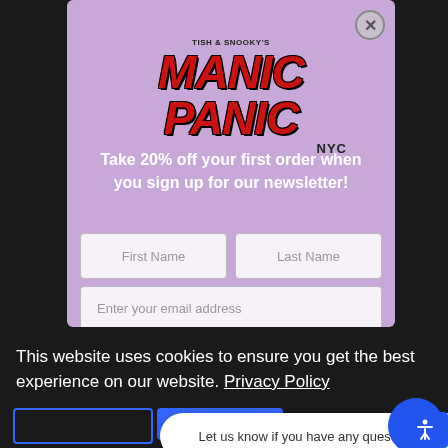[Figure (screenshot): Manic Panic website popup modal with lavender/purple background showing the Tish & Snooky's Manic Panic NYC logo in red italic text, a promotional offer to take 20% off first order when signing up for newsletter, form fields for First Name, Last Name, and Enter your email address]
Take 20% off your first order when you sign up for our newsletter!
First Name
Last Name
Enter your email address
This website uses cookies to ensure you get the best experience on our website. Privacy Policy
Let us know if you have any questions! 😊